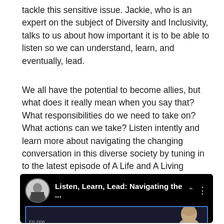tackle this sensitive issue. Jackie, who is an expert on the subject of Diversity and Inclusivity, talks to us about how important it is to be able to listen so we can understand, learn, and eventually, lead.
We all have the potential to become allies, but what does it really mean when you say that? What responsibilities do we need to take on? What actions can we take? Listen intently and learn more about navigating the changing conversation in this diverse society by tuning in to the latest episode of A Life and A Living Podcast.
[Figure (screenshot): Podcast embed player with black background showing 'Listen, Learn, Lead: Navigating the ...' title, circular avatar of a man in dark jacket, dots menu, and preview image of a bald man]